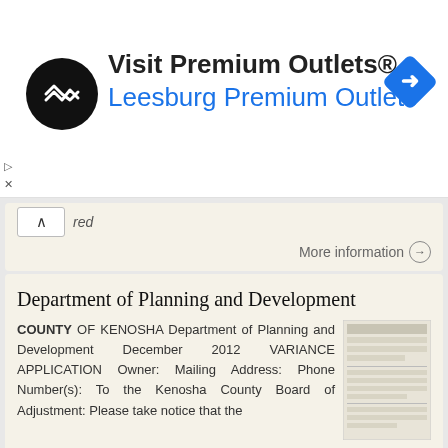[Figure (other): Advertisement banner for Visit Premium Outlets - Leesburg Premium Outlets, with logo and navigation icon]
More information →
Department of Planning and Development
COUNTY OF KENOSHA Department of Planning and Development December 2012 VARIANCE APPLICATION Owner: Mailing Address: Phone Number(s): To the Kenosha County Board of Adjustment: Please take notice that the
More information →
Attached is a Clinton Township Zoning Permit Application and requirements for